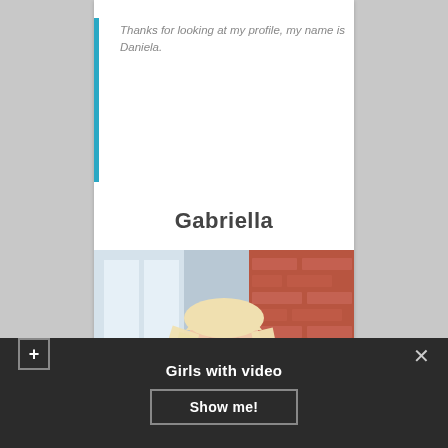Thanks for looking at my profile, my name is Daniela.
Gabriella
[Figure (photo): Portrait of a young woman with long blonde hair, wearing a light pink turtleneck, standing in front of a brick wall with a window in the background.]
Girls with video
Show me!